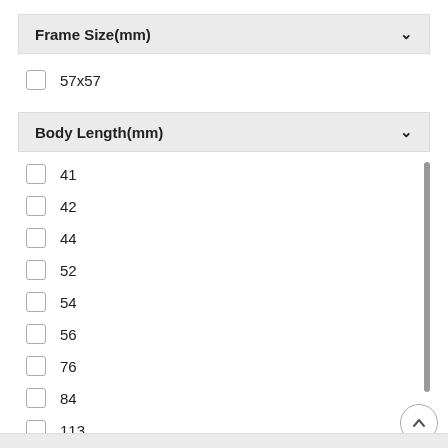Frame Size(mm)
57x57
Body Length(mm)
41
42
44
52
54
56
76
84
113